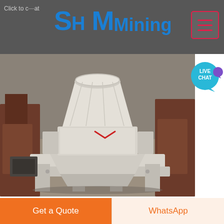Click to chat  SH MMining
[Figure (photo): Industrial mining machine (vertical shaft impact crusher) in white/grey, set in a factory/warehouse environment with brown machinery visible in background]
[Figure (other): LIVE CHAT speech bubble icon in teal/cyan color]
FBM Riverside California
FBM Riverside California you can rely on us for wholesale building materials drywall supply metal framing fasteners acoustic tiles and professional tools Call Us 714 380 3127 info fbmsales...
Get a Quote
WhatsApp